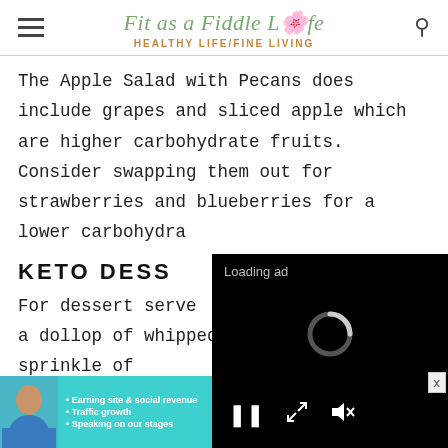Fit as a Fiddle Life / HEALTHY LIFE/FINE LIVING
The Apple Salad with Pecans does include grapes and sliced apple which are higher carbohydrate fruits. Consider swapping them out for strawberries and blueberries for a lower carbohydra[te option]
KETO DESS[ERTS]
For dessert serve[...] a dollop of whipped cream and a sprinkle of
[Figure (screenshot): Video ad overlay with black background showing 'Loading ad' text, a spinning loading indicator, and video controls (pause, expand, mute)]
[Figure (infographic): Bottom banner advertisement for SHE Partner Network with teal background, woman photo, bullet points: Earning site & social revenue, Traffic growth, Speaking on our stages. Includes SHE logo and LEARN MORE button.]